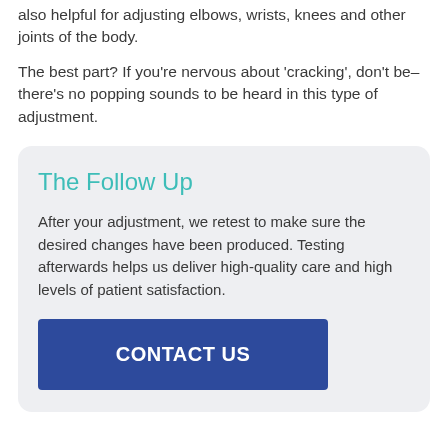also helpful for adjusting elbows, wrists, knees and other joints of the body.
The best part? If you're nervous about 'cracking', don't be–there's no popping sounds to be heard in this type of adjustment.
The Follow Up
After your adjustment, we retest to make sure the desired changes have been produced. Testing afterwards helps us deliver high-quality care and high levels of patient satisfaction.
CONTACT US